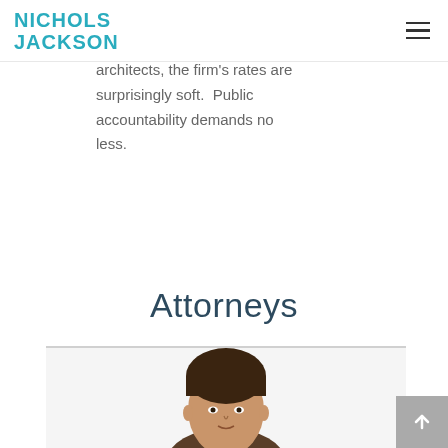NICHOLS JACKSON
architects, the firm's rates are surprisingly soft.  Public accountability demands no less.
Attorneys
[Figure (photo): Headshot photo of an attorney, cropped from shoulders up, against a light background]